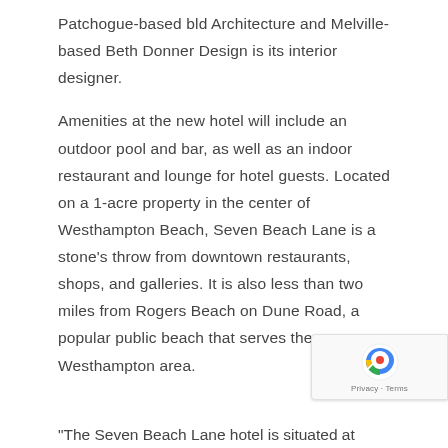Patchogue-based bld Architecture and Melville-based Beth Donner Design is its interior designer.
Amenities at the new hotel will include an outdoor pool and bar, as well as an indoor restaurant and lounge for hotel guests. Located on a 1-acre property in the center of Westhampton Beach, Seven Beach Lane is a stone's throw from downtown restaurants, shops, and galleries. It is also less than two miles from Rogers Beach on Dune Road, a popular public beach that serves the Westhampton area.
"The Seven Beach Lane hotel is situated at...